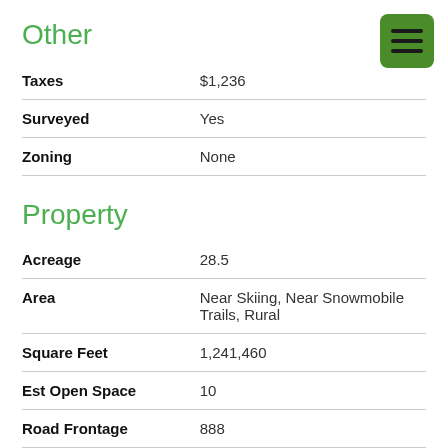Other
| Taxes | $1,236 |
| Surveyed | Yes |
| Zoning | None |
Property
| Acreage | 28.5 |
| Area | Near Skiing, Near Snowmobile Trails, Rural |
| Square Feet | 1,241,460 |
| Est Open Space | 10 |
| Road Frontage | 888 |
| Roads | Gravel, Public |